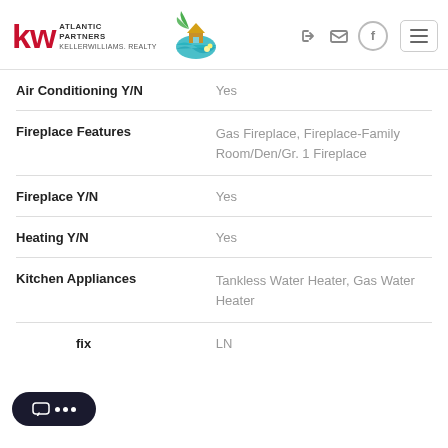Keller Williams Atlantic Partners Realty
| Field | Value |
| --- | --- |
| Air Conditioning Y/N | Yes |
| Fireplace Features | Gas Fireplace, Fireplace-Family Room/Den/Gr. 1 Fireplace |
| Fireplace Y/N | Yes |
| Heating Y/N | Yes |
| Kitchen Appliances | Tankless Water Heater, Gas Water Heater |
| ...fix | LN |